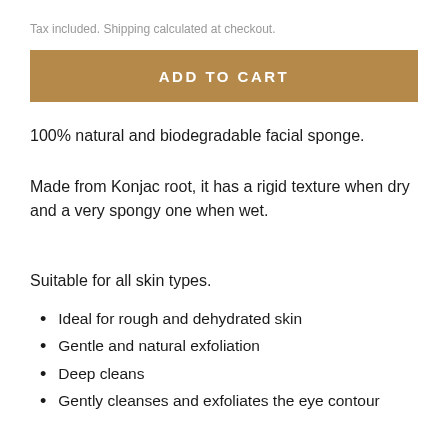Tax included. Shipping calculated at checkout.
ADD TO CART
100% natural and biodegradable facial sponge.
Made from Konjac root, it has a rigid texture when dry and a very spongy one when wet.
Suitable for all skin types.
Ideal for rough and dehydrated skin
Gentle and natural exfoliation
Deep cleans
Gently cleanses and exfoliates the eye contour